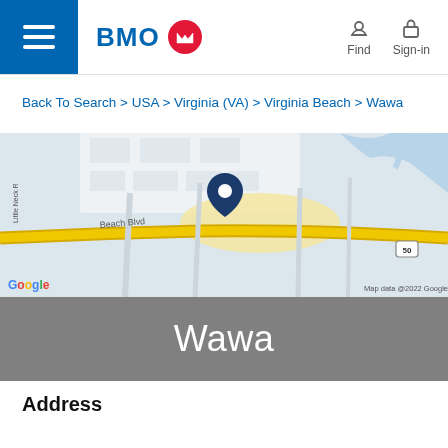BMO — Find | Sign-in
Back To Search > USA > Virginia (VA) > Virginia Beach > Wawa
[Figure (map): Google map showing a location pin on Virginia Beach Blvd near Little Neck Rd in Virginia Beach, VA. Map data @2022 Google.]
Wawa
Address